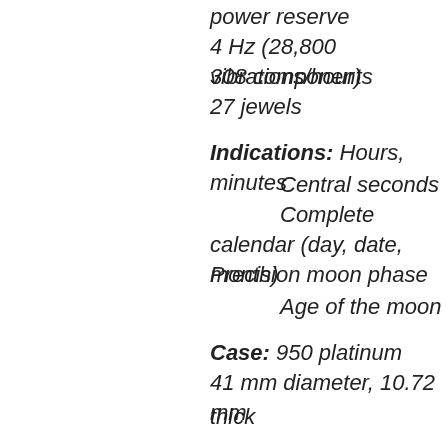power reserve
4 Hz (28,800 vibrations/hour)
308 components
27 jewels
Indications: Hours, minutes
Central seconds
Complete calendar (day, date, month)
Precision moon phase
Age of the moon
Case: 950 platinum
41 mm diameter, 10.72 mm thick